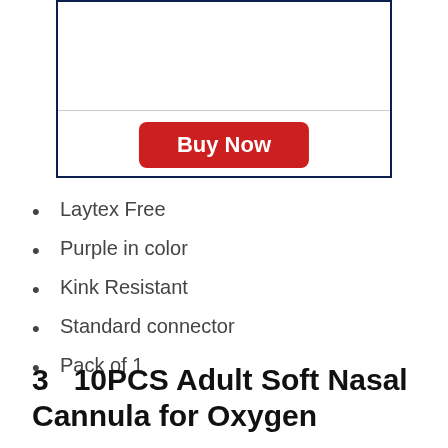[Figure (other): A bordered product listing box with a horizontal divider and a red 'Buy Now' button centered below the divider.]
Laytex Free
Purple in color
Kink Resistant
Standard connector
Pack of 1
3   10PCS Adult Soft Nasal Cannula for Oxygen